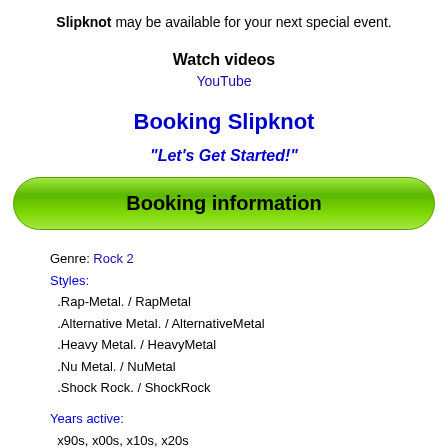Slipknot may be available for your next special event.
Watch videos
YouTube
Booking Slipknot
"Let's Get Started!"
Booking information
Genre: Rock 2
Styles:
.Rap-Metal. / RapMetal
.Alternative Metal. / AlternativeMetal
.Heavy Metal. / HeavyMetal
.Nu Metal. / NuMetal
.Shock Rock. / ShockRock
Years active:
x90s, x00s, x10s, x20s
1995-present
Formed: ..in Iowa / formed nIowa
..in Des Moines / formed DesMoinesIA
in 1995
Based: ..in US
GRAMMY Awards!